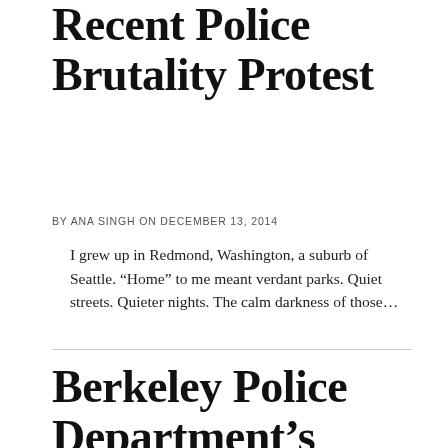Recent Police Brutality Protest
BY ANA SINGH ON DECEMBER 13, 2014
I grew up in Redmond, Washington, a suburb of Seattle. “Home” to me meant verdant parks. Quiet streets. Quieter nights. The calm darkness of those…
Berkeley Police Department’s Solution to Racial